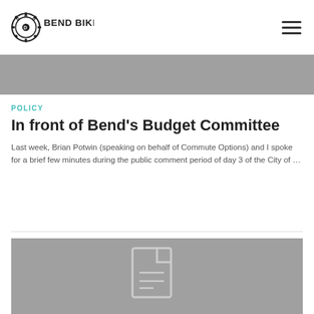Bend Bikes
[Figure (photo): Gray hero image banner at top of page]
POLICY
In front of Bend’s Budget Committee
Last week, Brian Potwin (speaking on behalf of Commute Options) and I spoke for a brief few minutes during the public comment period of day 3 of the City of …
[Figure (photo): Gray image placeholder with document/file icon]